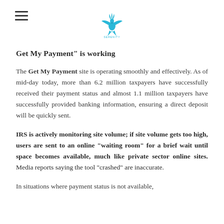Serenity [logo]
Get My Payment” is working
The Get My Payment site is operating smoothly and effectively. As of mid-day today, more than 6.2 million taxpayers have successfully received their payment status and almost 1.1 million taxpayers have successfully provided banking information, ensuring a direct deposit will be quickly sent.
IRS is actively monitoring site volume; if site volume gets too high, users are sent to an online “waiting room” for a brief wait until space becomes available, much like private sector online sites. Media reports saying the tool “crashed” are inaccurate.
In situations where payment status is not available,